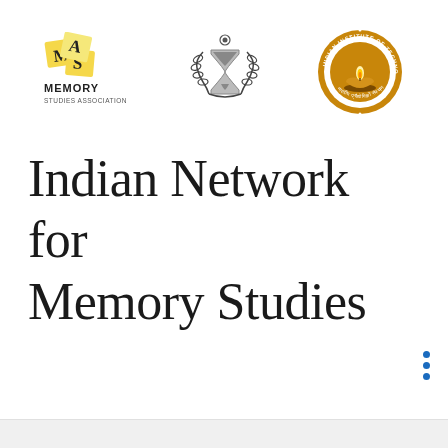[Figure (logo): Memory Studies Association logo with sticky notes spelling M, S, A and text MEMORY STUDIES ASSOCIATION below]
[Figure (logo): Hourglass with laurel wreath emblem, center logo]
[Figure (logo): Indian Institute of Technology Madras circular logo with gold background and lamp]
Indian Network for Memory Studies